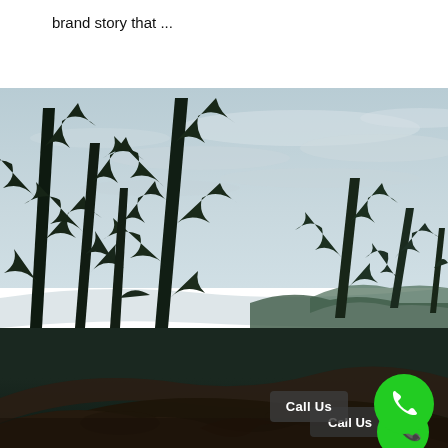brand story that ...
[Figure (photo): Forest landscape photo showing tall dark evergreen pine trees in the foreground against a pale overcast sky, with misty mountain ridges in the background and fallen driftwood logs in the lower portion. A green phone call button and a 'Call Us' label overlay the bottom right of the image.]